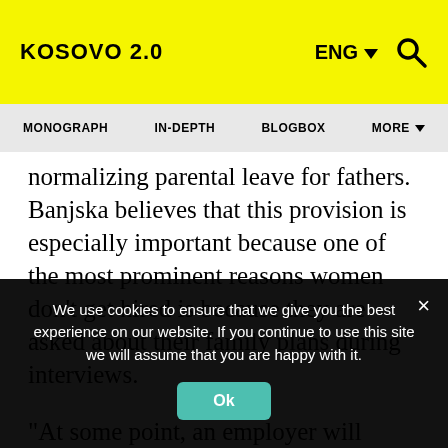KOSOVO 2.0 | ENG ▼ 🔍
MONOGRAPH | IN-DEPTH | BLOGBOX | MORE ▼
normalizing parental leave for fathers. Banjska believes that this provision is especially important because one of the most prominent reasons women don't get hired is because they are asked about their family plans during interviews.
“At some point, an employer will know it
We use cookies to ensure that we give you the best experience on our website. If you continue to use this site we will assume that you are happy with it.
Ok